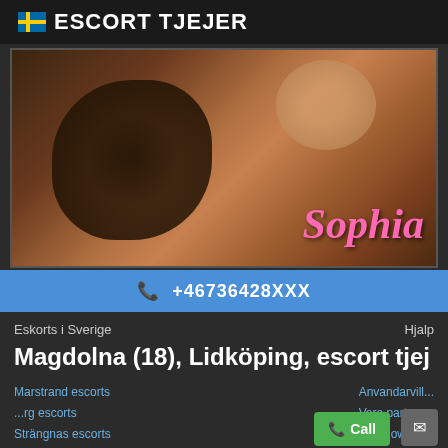🇸🇪 ESCORT TJEJER
[Figure (photo): A woman with blurred face wearing dark lace lingerie, posed suggestively. The name 'Sophia' is overlaid in pink italic text at the bottom right.]
📞 +46736428XXX
Eskorts i Sverige    Hjalp
Magdolna (18), Lidköping, escort tjej
Marstrand escorts
Strängnas escorts
Anvandarvillkor
Vara partner
Takedown